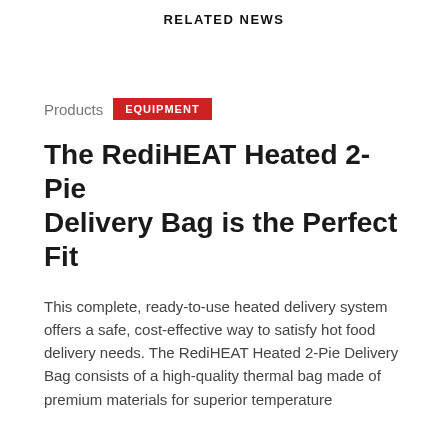RELATED NEWS
Products  EQUIPMENT
The RediHEAT Heated 2-Pie Delivery Bag is the Perfect Fit
This complete, ready-to-use heated delivery system offers a safe, cost-effective way to satisfy hot food delivery needs. The RediHEAT Heated 2-Pie Delivery Bag consists of a high-quality thermal bag made of premium materials for superior temperature